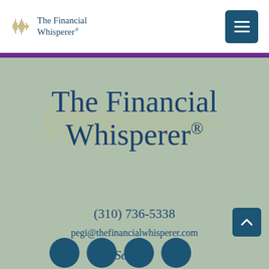[Figure (logo): The Financial Whisperer logo with sound wave graphic in header]
The Financial Whisperer®
(310) 736-5338
pegi@thefinancialwhisperer.com
Stay Social